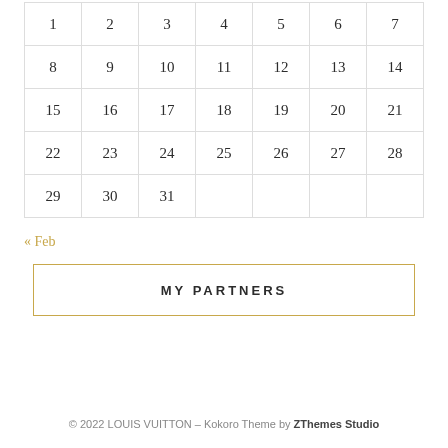| 1 | 2 | 3 | 4 | 5 | 6 | 7 |
| 8 | 9 | 10 | 11 | 12 | 13 | 14 |
| 15 | 16 | 17 | 18 | 19 | 20 | 21 |
| 22 | 23 | 24 | 25 | 26 | 27 | 28 |
| 29 | 30 | 31 |  |  |  |  |
« Feb
MY PARTNERS
© 2022 LOUIS VUITTON – Kokoro Theme by ZThemes Studio